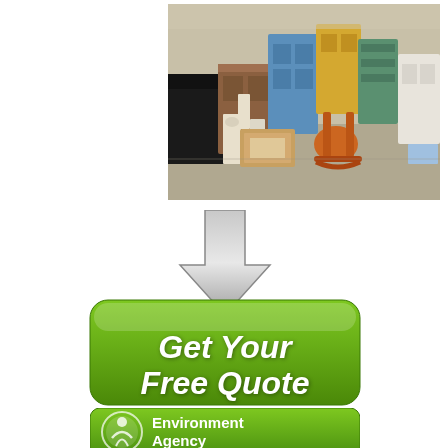[Figure (photo): Outdoor yard sale / flea market scene with various old furniture items including white painted chairs, wooden frames, a rocking chair, dressers, and other antique pieces arranged on a paved surface]
[Figure (infographic): A grey downward-pointing arrow above a green rounded rectangle button with white bold italic text reading 'Get Your Free Quote']
[Figure (logo): Green rounded rectangle banner with Environment Agency logo (circular figure icon) and white text reading 'Environment Agency']